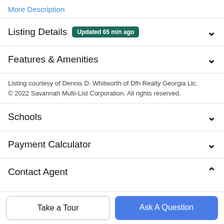More Description
Listing Details  Updated 65 min ago
Features & Amenities
Listing courtesy of Dennis D. Whitworth of Dfh Realty Georgia Llc. © 2022 Savannah Multi-List Corporation. All rights reserved.
Schools
Payment Calculator
Contact Agent
Take a Tour
Ask A Question